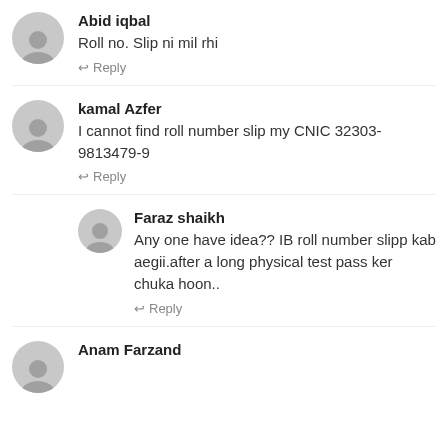Abid iqbal
Roll no. Slip ni mil rhi
↩ Reply
kamal Azfer
I cannot find roll number slip my CNIC 32303-9813479-9
↩ Reply
Faraz shaikh
Any one have idea?? IB roll number slipp kab aegii.after a long physical test pass ker chuka hoon..
↩ Reply
Anam Farzand